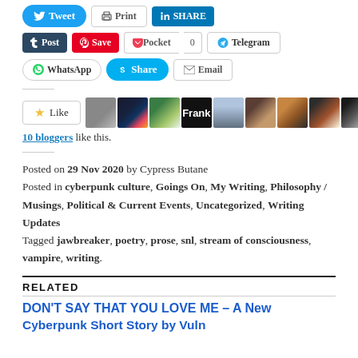[Figure (screenshot): Social sharing buttons row 1: Tweet (Twitter), Print, LinkedIn SHARE]
[Figure (screenshot): Social sharing buttons row 2: Tumblr Post, Pinterest Save, Pocket (with count 0), Telegram]
[Figure (screenshot): Social sharing buttons row 3: WhatsApp, Skype Share, Email]
[Figure (screenshot): Like button and 10 blogger avatars]
10 bloggers like this.
Posted on 29 Nov 2020 by Cypress Butane
Posted in cyberpunk culture, Goings On, My Writing, Philosophy / Musings, Political & Current Events, Uncategorized, Writing Updates
Tagged jawbreaker, poetry, prose, snl, stream of consciousness, vampire, writing.
RELATED
DON'T SAY THAT YOU LOVE ME – A New